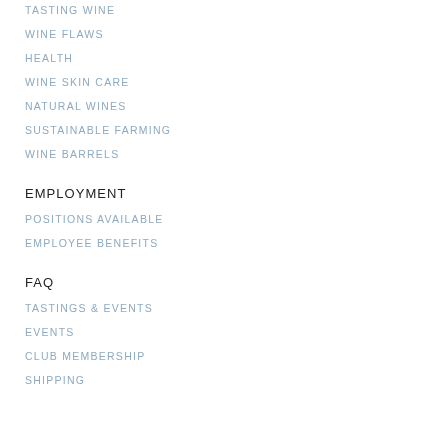TASTING WINE
WINE FLAWS
HEALTH
WINE SKIN CARE
NATURAL WINES
SUSTAINABLE FARMING
WINE BARRELS
EMPLOYMENT
POSITIONS AVAILABLE
EMPLOYEE BENEFITS
FAQ
TASTINGS & EVENTS
EVENTS
CLUB MEMBERSHIP
SHIPPING